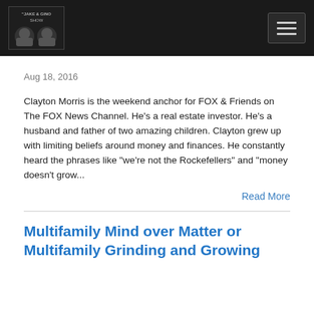Jake & Gino Show
Aug 18, 2016
Clayton Morris is the weekend anchor for FOX & Friends on The FOX News Channel. He's a real estate investor. He's a husband and father of two amazing children. Clayton grew up with limiting beliefs around money and finances. He constantly heard the phrases like "we're not the Rockefellers" and "money doesn't grow...
Read More
Multifamily Mind over Matter or Multifamily Grinding and Growing